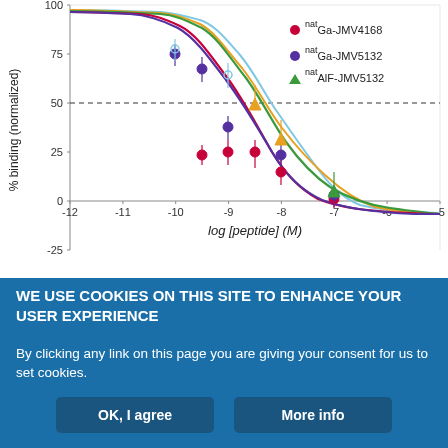[Figure (continuous-plot): Competition binding curves (% binding normalized vs log [peptide] (M)) for natGa-JMV4168 (red/pink curve), natGa-JMV5132 (dark blue/purple curve), and natAlF-JMV5132 (green curve), with light blue, orange, and other colored curves also visible. X-axis: log [peptide] (M) from -12 to -5. Y-axis: % binding (normalized) from -25 to ~100. A dashed horizontal line at 50%. Data points with error bars shown.]
Download figure
Open in new tab
WE USE COOKIES ON THIS SITE TO ENHANCE YOUR USER EXPERIENCE
By clicking any link on this page you are giving your consent for us to set cookies.